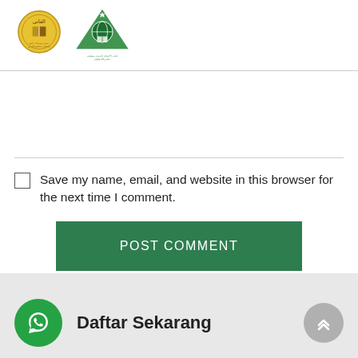[Figure (logo): Two Islamic education institution logos side by side]
Save my name, email, and website in this browser for the next time I comment.
POST COMMENT
Daftar Sekarang
Related Posts